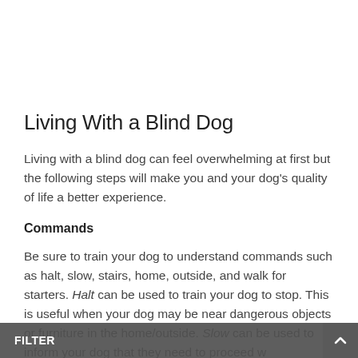Living With a Blind Dog
Living with a blind dog can feel overwhelming at first but the following steps will make you and your dog's quality of life a better experience.
Commands
Be sure to train your dog to understand commands such as halt, slow, stairs, home, outside, and walk for starters. Halt can be used to train your dog to stop. This is useful when your dog may be near dangerous objects or furniture in the home/outside. Slow can be used to inform your dog that they need to proceed w…